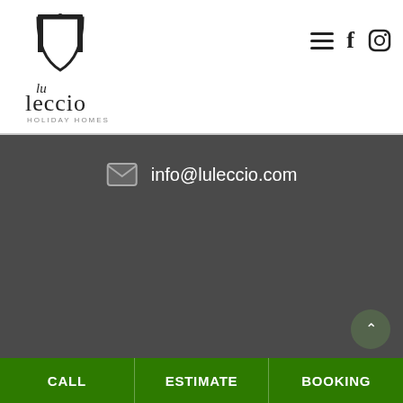[Figure (logo): Leccio Holiday Homes logo — stylized arch with 'lu leccio' text and 'HOLIDAY HOMES' subtitle]
info@luleccio.com
© 2019 LECCELOFT.COM S.R.L. - Powered by Envision P.IVA 04876820756
CALL
ESTIMATE
BOOKING